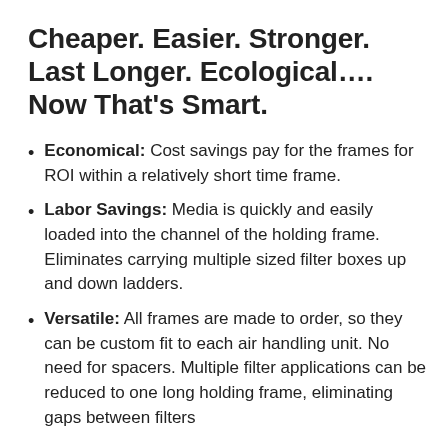Cheaper. Easier. Stronger. Last Longer. Ecological.... Now That's Smart.
Economical: Cost savings pay for the frames for ROI within a relatively short time frame.
Labor Savings: Media is quickly and easily loaded into the channel of the holding frame. Eliminates carrying multiple sized filter boxes up and down ladders.
Versatile: All frames are made to order, so they can be custom fit to each air handling unit. No need for spacers. Multiple filter applications can be reduced to one long holding frame, eliminating gaps between filters